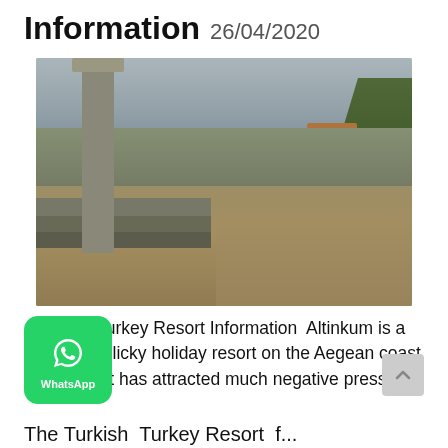Information 26/04/2020
[Figure (photo): Photograph of ancient ruins (Didyma/Miletus area, Turkey) with tall stone column, scattered stone blocks and drums, trees and buildings in background under cloudy sky]
Altinkum Turkey Resort Information  Altinkum is a small and clicky holiday resort on the Aegean coast of Turkey. It has attracted much negative press (text continues below)